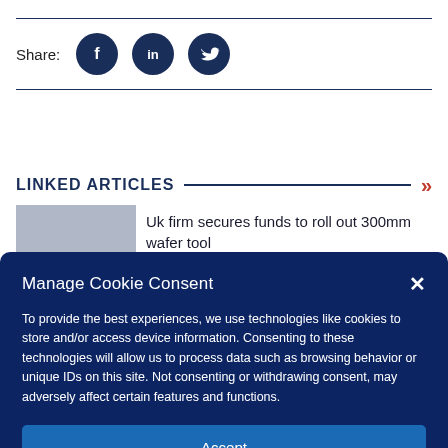Share:
[Figure (illustration): Facebook, LinkedIn, and Twitter social media icons as dark blue circles]
LINKED ARTICLES
Uk firm secures funds to roll out 300mm wafer tool
Manage Cookie Consent
To provide the best experiences, we use technologies like cookies to store and/or access device information. Consenting to these technologies will allow us to process data such as browsing behavior or unique IDs on this site. Not consenting or withdrawing consent, may adversely affect certain features and functions.
Accept